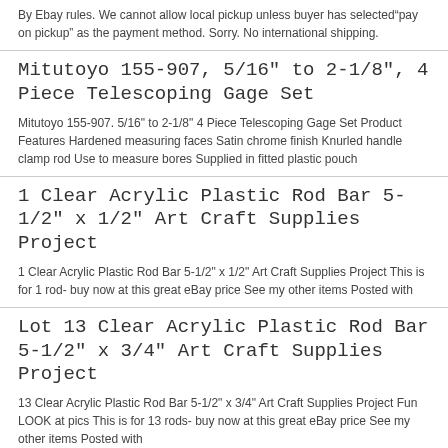By Ebay rules. We cannot allow local pickup unless buyer has selected"pay on pickup" as the payment method. Sorry. No international shipping.
Mitutoyo 155-907, 5/16" to 2-1/8", 4 Piece Telescoping Gage Set
Mitutoyo 155-907. 5/16" to 2-1/8" 4 Piece Telescoping Gage Set Product Features Hardened measuring faces Satin chrome finish Knurled handle clamp rod Use to measure bores Supplied in fitted plastic pouch
1 Clear Acrylic Plastic Rod Bar 5-1/2" x 1/2" Art Craft Supplies Project
1 Clear Acrylic Plastic Rod Bar 5-1/2" x 1/2" Art Craft Supplies Project This is for 1 rod- buy now at this great eBay price See my other items Posted with
Lot 13 Clear Acrylic Plastic Rod Bar 5-1/2" x 3/4" Art Craft Supplies Project
13 Clear Acrylic Plastic Rod Bar 5-1/2" x 3/4" Art Craft Supplies Project Fun LOOK at pics This is for 13 rods- buy now at this great eBay price See my other items Posted with
Snap Jaws 6MAJ-2-1/2" x 1-1/4" x 6"